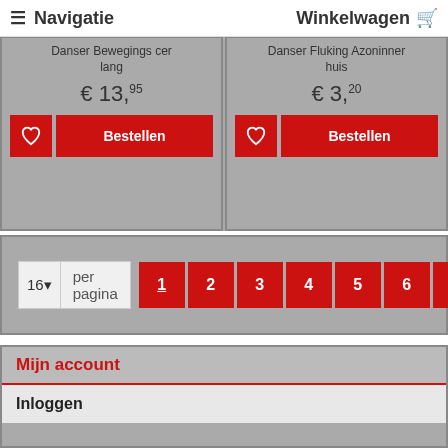≡ Navigatie   Winkelwagen 🛒
Danser Bewegings cer lang
€ 13,95
Bestellen
Danser Fluking Azoninner huis
€ 3,20
Bestellen
16▼ per pagina  1 2 3 4 5 6 ›
Mijn account
Inloggen